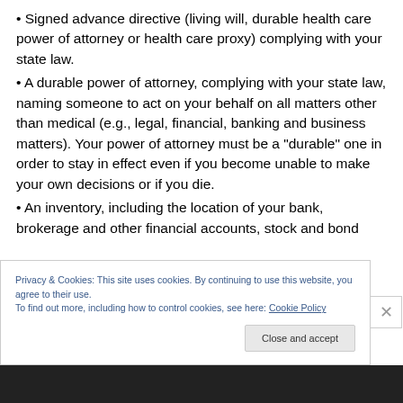Signed advance directive (living will, durable health care power of attorney or health care proxy) complying with your state law.
A durable power of attorney, complying with your state law, naming someone to act on your behalf on all matters other than medical (e.g., legal, financial, banking and business matters). Your power of attorney must be a “durable” one in order to stay in effect even if you become unable to make your own decisions or if you die.
An inventory, including the location of your bank, brokerage and other financial accounts, stock and bond
Privacy & Cookies: This site uses cookies. By continuing to use this website, you agree to their use.
To find out more, including how to control cookies, see here: Cookie Policy
Close and accept